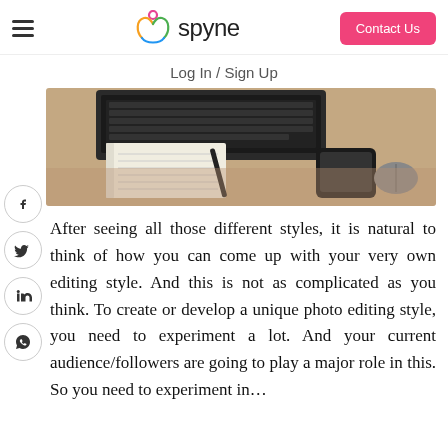spyne — Contact Us | Log In / Sign Up
[Figure (photo): Photo of a desk with a laptop keyboard, notebook, pen, smartphone and other office items on a wooden surface.]
After seeing all those different styles, it is natural to think of how you can come up with your very own editing style. And this is not as complicated as you think. To create or develop a unique photo editing style, you need to experiment a lot. And your current audience/followers are going to play a major role in this. So you need to experiment in…